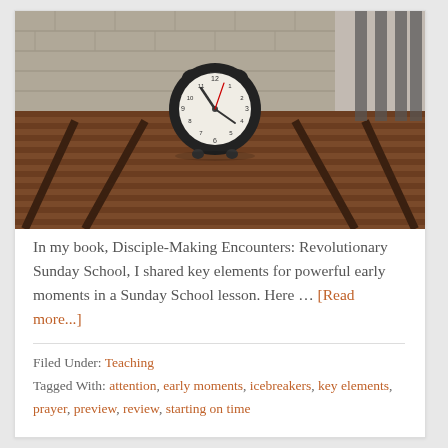[Figure (photo): An alarm clock sitting on a wooden picnic table or bench, with a brick wall and metal railings in the background. The clock face shows approximately 10:10.]
In my book, Disciple-Making Encounters: Revolutionary Sunday School, I shared key elements for powerful early moments in a Sunday School lesson. Here … [Read more...]
Filed Under: Teaching
Tagged With: attention, early moments, icebreakers, key elements, prayer, preview, review, starting on time